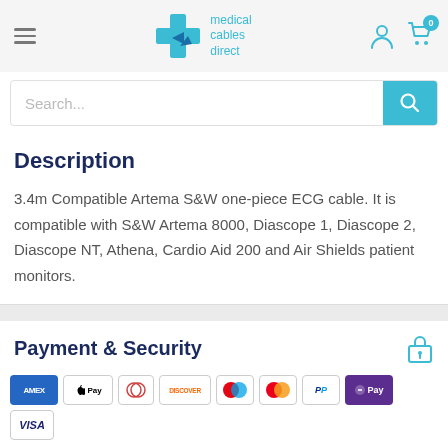[Figure (logo): Medical Cables Direct logo with blue cross and arrow icon, teal colored brand name text]
Search...
Description
3.4m Compatible Artema S&W one-piece ECG cable. It is compatible with S&W Artema 8000, Diascope 1, Diascope 2, Diascope NT, Athena, Cardio Aid 200 and Air Shields patient monitors.
Payment & Security
[Figure (infographic): Payment method icons: AMEX, Apple Pay, Diners Club, Discover, Maestro, Mastercard, PayPal, G Pay, Visa]